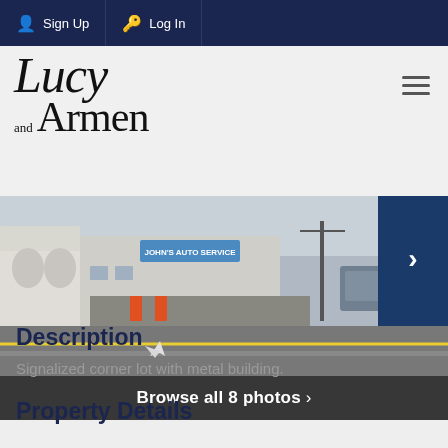Sign Up  Log In
[Figure (logo): Lucy and Armen real estate logo in serif italic script]
[Figure (photo): Street-level photo of a signalized corner lot with metal building and auto service shop]
Browse all 8 photos >
Description
Signalized corner lot with metal building.
Property Details